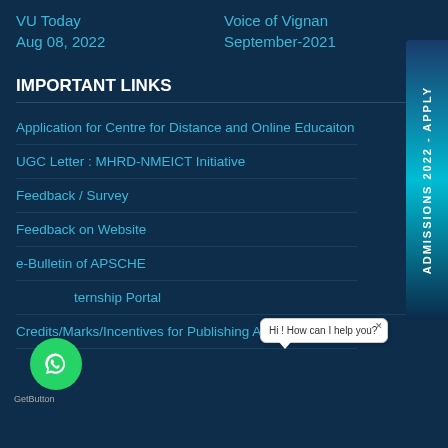VU Today
Voice of Vignan
Aug 08, 2022
September-2021
IMPORTANT LINKS
Application for Centre for Distance and Online Educaiton
UGC Letter : MHRD-NMEICT Initiative
Feedback / Survey
Feedback on Website
e-Bulletin of APSCHE
Aternship Portal
Credits/Marks/Incentives for Publishing Articles in
[Figure (screenshot): Chat bubble with text 'Hi ! How can I help you?' and close button]
[Figure (logo): WhatsApp circular green button with phone icon]
GetButton
[Figure (infographic): ADMISSIONS 2022 - APPLY vertical sidebar banner with gradient background]